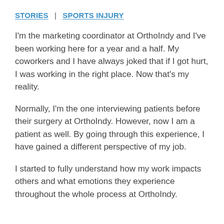STORIES | SPORTS INJURY
I'm the marketing coordinator at OrthoIndy and I've been working here for a year and a half. My coworkers and I have always joked that if I got hurt, I was working in the right place. Now that's my reality.
Normally, I'm the one interviewing patients before their surgery at OrthoIndy. However, now I am a patient as well. By going through this experience, I have gained a different perspective of my job.
I started to fully understand how my work impacts others and what emotions they experience throughout the whole process at OrthoIndy.